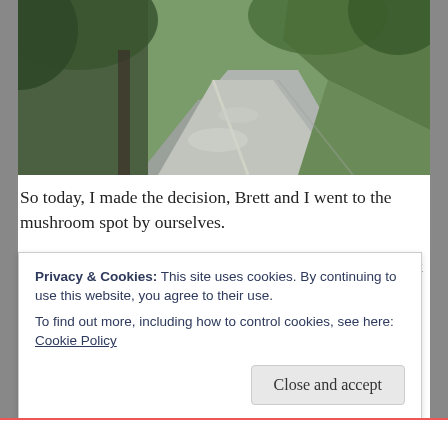[Figure (photo): A shaded, deserted gravel road leading through trees and green foliage, photographed from inside a vehicle or ground level. Road curves to the right with dappled sunlight and dense greenery on the hillside.]
So today, I made the decision, Brett and I went to the mushroom spot by ourselves.
What if there was a weird psychopath on the trail? I think to myself...
What are the odds?
We'll be ok...
As we rumbled along the deserted gravel road leading to the
Privacy & Cookies: This site uses cookies. By continuing to use this website, you agree to their use.
To find out more, including how to control cookies, see here: Cookie Policy
Close and accept